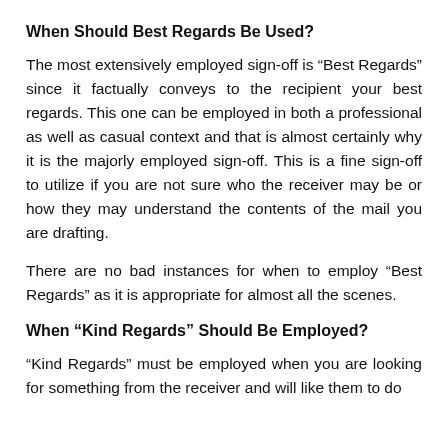When Should Best Regards Be Used?
The most extensively employed sign-off is “Best Regards” since it factually conveys to the recipient your best regards. This one can be employed in both a professional as well as casual context and that is almost certainly why it is the majorly employed sign-off. This is a fine sign-off to utilize if you are not sure who the receiver may be or how they may understand the contents of the mail you are drafting.
There are no bad instances for when to employ “Best Regards” as it is appropriate for almost all the scenes.
When “Kind Regards” Should Be Employed?
“Kind Regards” must be employed when you are looking for something from the receiver and will like them to do